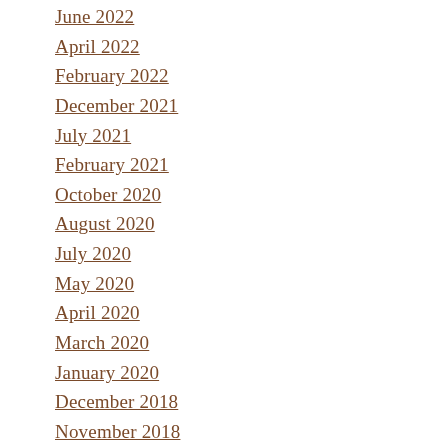June 2022
April 2022
February 2022
December 2021
July 2021
February 2021
October 2020
August 2020
July 2020
May 2020
April 2020
March 2020
January 2020
December 2018
November 2018
October 2018
August 2018
July 2018
May 2018